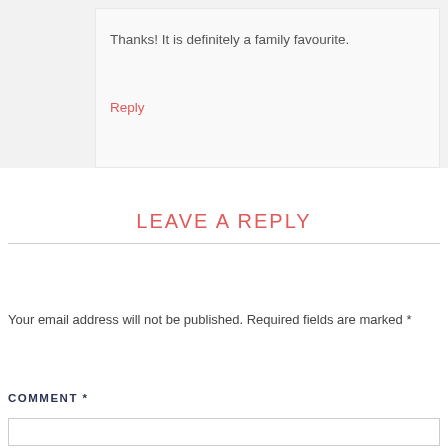Thanks! It is definitely a family favourite.
Reply
LEAVE A REPLY
Your email address will not be published. Required fields are marked *
COMMENT *